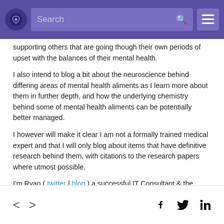Search
supporting others that are going though their own periods of upset with the balances of their mental health.
I also intend to blog a bit about the neuroscience behind differing areas of mental health aliments as I learn more about them in further depth, and how the underlying chemistry behind some of mental health aliments can be potentially better managed.
I however will make it clear I am not a formally trained medical expert and that I will only blog about items that have definitive research behind them, with citations to the research papers where utmost possible.
I'm Ryan ( twitter | blog ) a successful IT Consultant & the founder of mhasl and Mental Health Affects Someone Like Me
< > f twitter in